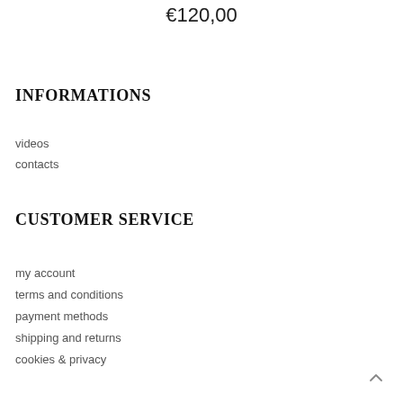€120,00
INFORMATIONS
videos
contacts
CUSTOMER SERVICE
my account
terms and conditions
payment methods
shipping and returns
cookies & privacy